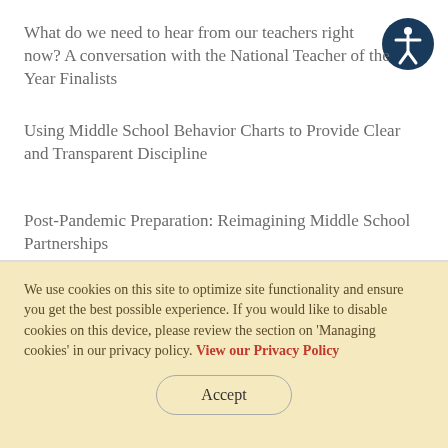What do we need to hear from our teachers right now? A conversation with the National Teacher of the Year Finalists
Using Middle School Behavior Charts to Provide Clear and Transparent Discipline
Post-Pandemic Preparation: Reimagining Middle School Partnerships
We use cookies on this site to optimize site functionality and ensure you get the best possible experience. If you would like to disable cookies on this device, please review the section on 'Managing cookies' in our privacy policy. View our Privacy Policy
Accept